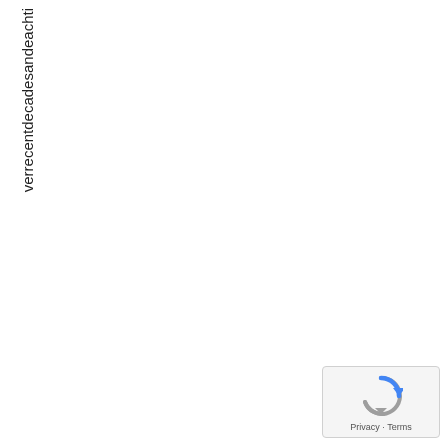verrecentdecadesandeachti
[Figure (other): reCAPTCHA widget with spinning arrow logo and Privacy - Terms link text]